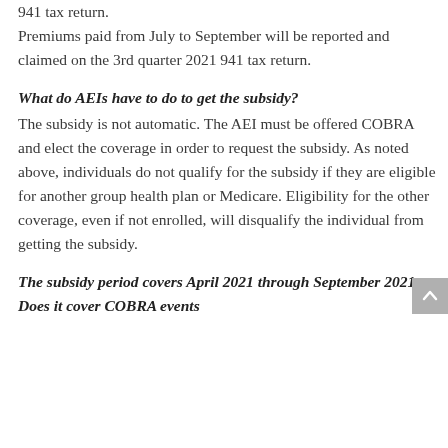941 tax return. Premiums paid from July to September will be reported and claimed on the 3rd quarter 2021 941 tax return.
What do AEIs have to do to get the subsidy?
The subsidy is not automatic. The AEI must be offered COBRA and elect the coverage in order to request the subsidy. As noted above, individuals do not qualify for the subsidy if they are eligible for another group health plan or Medicare. Eligibility for the other coverage, even if not enrolled, will disqualify the individual from getting the subsidy.
The subsidy period covers April 2021 through September 2021. Does it cover COBRA events